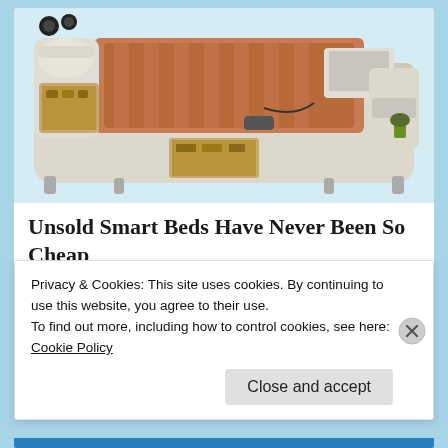[Figure (photo): A luxury smart bed with multiple built-in features including storage drawers, a massage chair attachment, speakers, and a laptop stand. The bed is cream/beige colored with warm brown bedding.]
Unsold Smart Beds Have Never Been So Cheap
Smart Bed | Search Ads
Share this:
Privacy & Cookies: This site uses cookies. By continuing to use this website, you agree to their use.
To find out more, including how to control cookies, see here:
Cookie Policy
Close and accept